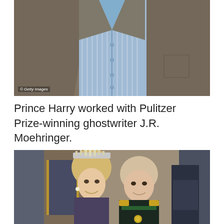[Figure (photo): Close-up photo of a person wearing a tan/grey blazer over a blue and white striped dress shirt. The photo is cropped at the torso. Getty Images watermark visible at bottom left.]
Prince Harry worked with Pulitzer Prize-winning ghostwriter J.R. Moehringer.
[Figure (photo): Photo of a royal couple — a woman wearing a diamond tiara and a man in a dark military uniform with gold/green decorations. Both are smiling. Other attendees visible in background wearing ceremonial attire.]